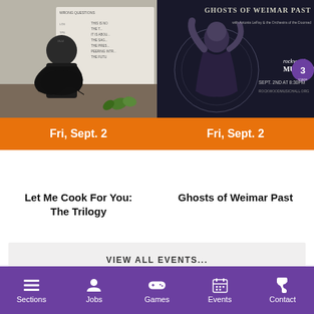[Figure (photo): Classroom photo: a woman holding up a dark garment in front of a whiteboard with math equations]
Fri, Sept. 2
[Figure (photo): Event poster for Ghosts of Weimar Past at Rockwood Music Hall, Stage 3, Sept. 2nd at 8:30PM, with woman posing artistically in dark tones]
Fri, Sept. 2
Let Me Cook For You: The Trilogy
Ghosts of Weimar Past
VIEW ALL EVENTS...
Sections  Jobs  Games  Events  Contact